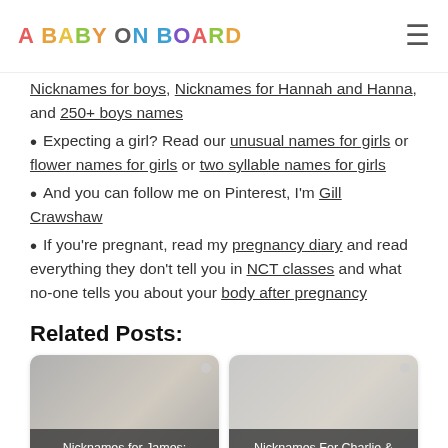A BABY ON BOARD
Nicknames for boys, Nicknames for Hannah and Hanna, and 250+ boys names
Expecting a girl? Read our unusual names for girls or flower names for girls or two syllable names for girls
And you can follow me on Pinterest, I'm Gill Crawshaw
If you're pregnant, read my pregnancy diary and read everything they don't tell you in NCT classes and what no-one tells you about your body after pregnancy
Related Posts:
[Figure (photo): Photo card: child playing, with caption 'Nicknames for James: The Best James Nicknames']
[Figure (photo): Photo card: child playing on floor, with caption 'Nicknames For Charlie & Nicknames For Charles: 41 Of The...']